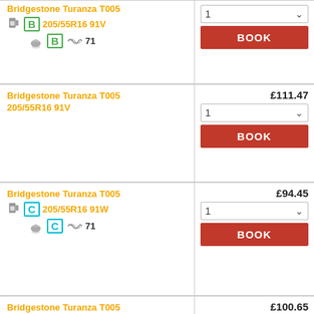Bridgestone Turanza T005 205/55R16 91V (fuel B, wet B, noise 71)
BOOK
£111.47
Bridgestone Turanza T005 205/55R16 91V
BOOK
£94.45
Bridgestone Turanza T005 205/55R16 91W (fuel C, wet C, noise 71)
BOOK
£100.65
Bridgestone Turanza T005 205/55R16 91W (fuel B)